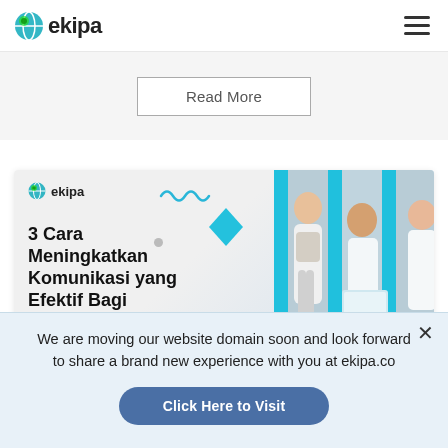[Figure (logo): ekipa logo with globe icon and hamburger menu icon]
Read More
[Figure (illustration): Article card with ekipa branding, title '3 Cara Meningkatkan Komunikasi yang Efektif Bagi' on left, and photo of Asian young professionals collaborating on right with blue accent stripes]
3 Cara Meningkatkan Komunikasi yang Efektif Bagi
We are moving our website domain soon and look forward to share a brand new experience with you at ekipa.co
Click Here to Visit